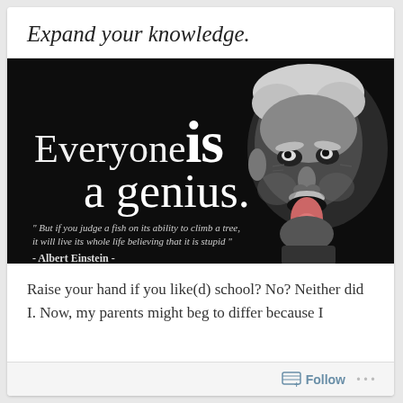Expand your knowledge.
[Figure (illustration): Black and white motivational image with quote 'Everyone is a genius. But if you judge a fish on its ability to climb a tree, it will live its whole life believing that it is stupid' - Albert Einstein, with a photo of Albert Einstein sticking out his tongue on the right side.]
Raise your hand if you like(d) school? No? Neither did I. Now, my parents might beg to differ because I